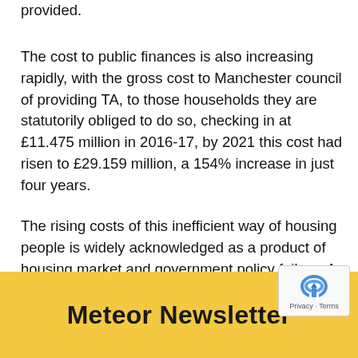provided.
The cost to public finances is also increasing rapidly, with the gross cost to Manchester council of providing TA, to those households they are statutorily obliged to do so, checking in at £11.475 million in 2016-17, by 2021 this cost had risen to £29.159 million, a 154% increase in just four years.
The rising costs of this inefficient way of housing people is widely acknowledged as a product of housing market and government policy failure. A failure that is detrimental to the lives of the increasing numbers of families and individuals across Manchester living in this insecure housing.
Meteor Newsletter